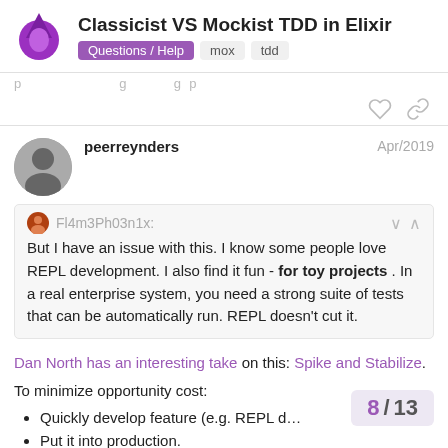Classicist VS Mockist TDD in Elixir | Questions / Help | mox | tdd
But I have an issue with this. I know some people love REPL development. I also find it fun - for toy projects . In a real enterprise system, you need a strong suite of tests that can be automatically run. REPL doesn't cut it.
peerreynders  Apr/2019
Fl4m3Ph03n1x:
Dan North has an interesting take on this: Spike and Stabilize.
To minimize opportunity cost:
Quickly develop feature (e.g. REPL d…
Put it into production.